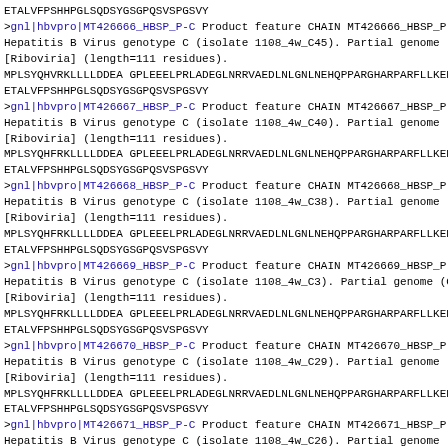ETALVFPSHHPGLSQDSYGSGPQSVSPGSVY
>gnl|hbvpro|MT426666_HBSP_P-C Product feature CHAIN MT426666_HBSP_P Hepatitis B Virus genotype C (isolate 1108_4w_C45). Partial genome (C [Riboviria] (length=111 residues).
MPLSYQHVRKLLLLDDEA GPLEEELPRLADEGLNRRVAEDLNLGNLNEHQPPARGHARPARFLLKEPLCF
ETALVFPSHHPGLSQDSYGSGPQSVSPGSVY
>gnl|hbvpro|MT426667_HBSP_P-C Product feature CHAIN MT426667_HBSP_P Hepatitis B Virus genotype C (isolate 1108_4w_C40). Partial genome (C [Riboviria] (length=111 residues).
MPLSYQHFRKLLLLDDEA GPLEEELPRLADEGLNRRVAEDLNLGNLNEHQPPARGHARPARFLLKEPLCF
ETALVFPSHHPGLSQDSYGSGPQSVSPGSVY
>gnl|hbvpro|MT426668_HBSP_P-C Product feature CHAIN MT426668_HBSP_P Hepatitis B Virus genotype C (isolate 1108_4w_C38). Partial genome (C [Riboviria] (length=111 residues).
MPLSYQHFRKLLLLDDEA GPLEEELPRLADEGLNRRVAEDLNLGNLNEHQPPARGHARPARFLLKEPLCF
ETALVFPSHHPGLSQDSYGSGPQSVSPGSVY
>gnl|hbvpro|MT426669_HBSP_P-C Product feature CHAIN MT426669_HBSP_P Hepatitis B Virus genotype C (isolate 1108_4w_C3). Partial genome (C [Riboviria] (length=111 residues).
MPLSYQHFRKLLLLDDEA GPLEEELPRLADEGLNRRVAEDLNLGNLNEHQPPARGHARPARFLLKEPLCF
ETALVFPSHHPGLSQDSYGSGPQSVSPGSVY
>gnl|hbvpro|MT426670_HBSP_P-C Product feature CHAIN MT426670_HBSP_P Hepatitis B Virus genotype C (isolate 1108_4w_C29). Partial genome (C [Riboviria] (length=111 residues).
MPLSYQHFRKLLLLDDEA GPLEEELPRLADEGLNRRVAEDLNLGNLNEHQPPARGHARPARFLLKEPLCF
ETALVFPSHHPGLSQDSYGSGPQSVSPGSVY
>gnl|hbvpro|MT426671_HBSP_P-C Product feature CHAIN MT426671_HBSP_P Hepatitis B Virus genotype C (isolate 1108_4w_C26). Partial genome (C [Riboviria] (length=111 residues).
MPLSYQHFRKLLLLDDEA GPLEEELPRLADEGLNRRVAEDLNLGNLNEHQPPARGHARPARFLLKEPLCF